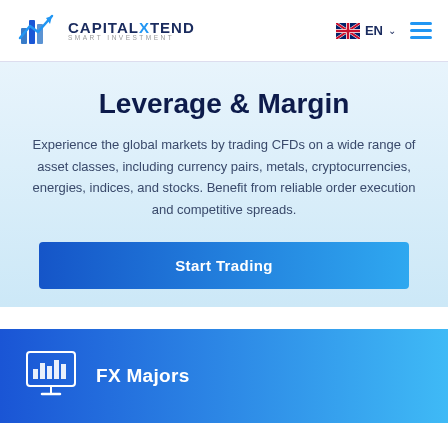[Figure (logo): CapitalXtend Smart Investment logo with bar chart icon and arrow]
[Figure (infographic): UK flag icon with EN language selector and hamburger menu]
Leverage & Margin
Experience the global markets by trading CFDs on a wide range of asset classes, including currency pairs, metals, cryptocurrencies, energies, indices, and stocks. Benefit from reliable order execution and competitive spreads.
Start Trading
FX Majors